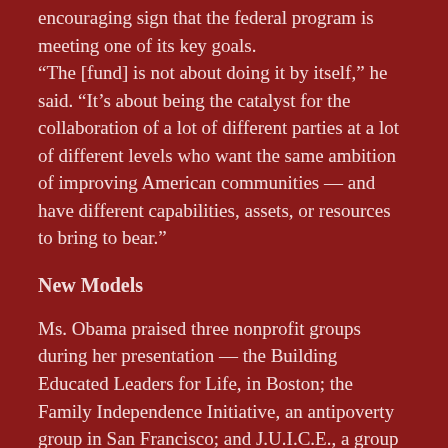encouraging sign that the federal program is meeting one of its key goals.
“The [fund] is not about doing it by itself,” he said. “It’s about being the catalyst for the collaboration of a lot of different parties at a lot of different levels who want the same ambition of improving American communities — and have different capabilities, assets, or resources to bring to bear.”
New Models
Ms. Obama praised three nonprofit groups during her presentation — the Building Educated Leaders for Life, in Boston; the Family Independence Initiative, an antipoverty group in San Francisco; and J.U.I.C.E., a group that promotes health education and exercise in urban St. Louis. The first lady said the Social Innovation Fund could create a “powerful new model” for overcoming the country’s social problems, and she hopes it will outlast the Obama administration. She also encouraged other philanthropists to step forward. “We want to grow this thing,” she